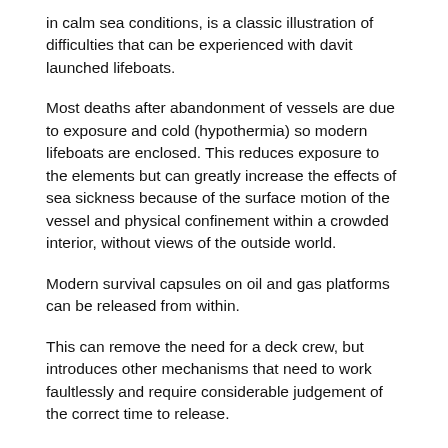in calm sea conditions, is a classic illustration of difficulties that can be experienced with davit launched lifeboats.
Most deaths after abandonment of vessels are due to exposure and cold (hypothermia) so modern lifeboats are enclosed. This reduces exposure to the elements but can greatly increase the effects of sea sickness because of the surface motion of the vessel and physical confinement within a crowded interior, without views of the outside world.
Modern survival capsules on oil and gas platforms can be released from within.
This can remove the need for a deck crew, but introduces other mechanisms that need to work faultlessly and require considerable judgement of the correct time to release.
The problem of a lifeboat colliding with the platform however remains unaltered, being greater for some offshore production platforms which, unlike a ship, have no sheltered or 'lee' side.